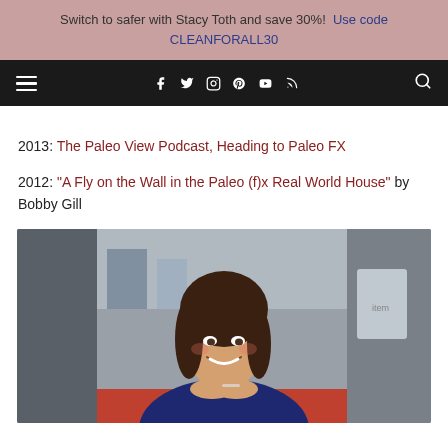Switch to safer with Stacy Toth and save 30%! Use code CLEANFORALL30
[Figure (screenshot): Navigation bar with hamburger menu, social media icons (Facebook, Twitter, Instagram, Pinterest, YouTube, RSS) and search icon on dark background]
2013: The Paleo View Podcast, Heading to Paleo FX
2012: “A Fly on the Wall in the Paleo (f)x Real World House” by Bobby Gill
[Figure (photo): Photo of a smiling young woman with dark hair, hands clasped near her chin, wearing a dark navy top, seated in what appears to be a cafe or kitchen setting]